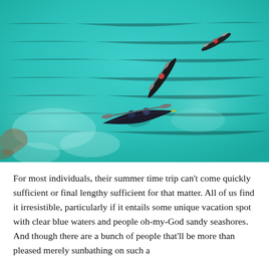[Figure (photo): Aerial view of three kayakers paddling on clear turquoise-green ocean water. One kayak is in the lower center, one in the upper middle-right, and one in the upper right corner. The water is vivid teal with visible sandy bottom in places.]
For most individuals, their summer time trip can't come quickly sufficient or final lengthy sufficient for that matter. All of us find it irresistible, particularly if it entails some unique vacation spot with clear blue waters and people oh-my-God sandy seashores. And though there are a bunch of people that'll be more than pleased merely sunbathing on such a